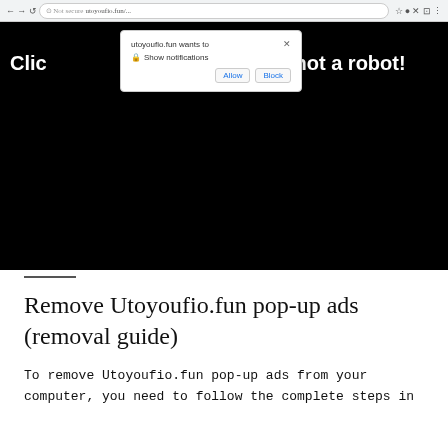[Figure (screenshot): Browser screenshot showing a black webpage with a notification permission popup from utoyoufio.fun saying 'utoyoufio.fun wants to' with 'Show notifications' and Allow/Block buttons. White bold text on the black page reads 'Click ... m that you are not a robot!']
Remove Utoyoufio.fun pop-up ads (removal guide)
To remove Utoyoufio.fun pop-up ads from your computer, you need to follow the complete steps in